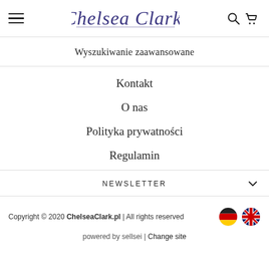Chelsea Clark. [logo with hamburger menu, search and cart icons]
Wyszukiwanie zaawansowane
Kontakt
O nas
Polityka prywatności
Regulamin
NEWSLETTER
Copyright © 2020 ChelseaClark.pl | All rights reserved
powered by sellsei | Change site